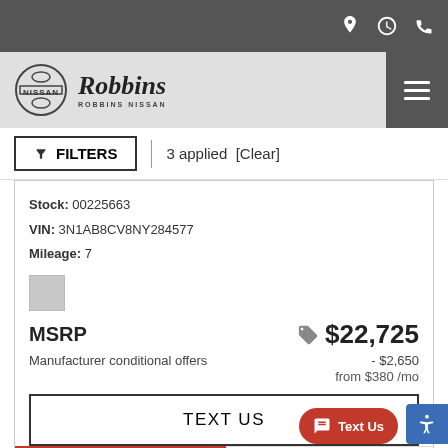Robbins Nissan – website header with navigation icons (location, hours, phone)
[Figure (logo): Nissan and Robbins Nissan dealership logo]
FILTERS  3 applied [Clear]
Stock: 00225663
VIN: 3N1AB8CV8NY284577
Mileage: 7
MSRP  $22,725
Manufacturer conditional offers  - $2,650
from $380 /mo
TEXT US
Get Robbins Price
VALUE MY TRADE